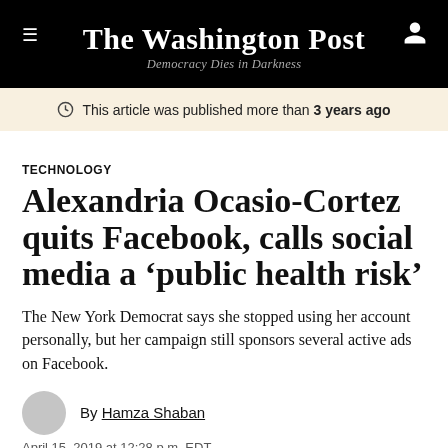The Washington Post — Democracy Dies in Darkness
This article was published more than 3 years ago
TECHNOLOGY
Alexandria Ocasio-Cortez quits Facebook, calls social media a 'public health risk'
The New York Democrat says she stopped using her account personally, but her campaign still sponsors several active ads on Facebook.
By Hamza Shaban
April 15, 2019 at 12:28 p.m. EDT